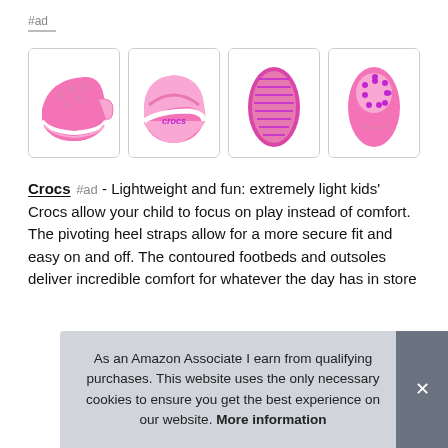#ad
[Figure (photo): Four product images of pink Crocs children's shoes: front-side view, back-side view with 'crocs' branding, sole view, and top-down view]
Crocs #ad - Lightweight and fun: extremely light kids' Crocs allow your child to focus on play instead of comfort. The pivoting heel straps allow for a more secure fit and easy on and off. The contoured footbeds and outsoles deliver incredible comfort for whatever the day has in store. The...wea...are...
As an Amazon Associate I earn from qualifying purchases. This website uses the only necessary cookies to ensure you get the best experience on our website. More information